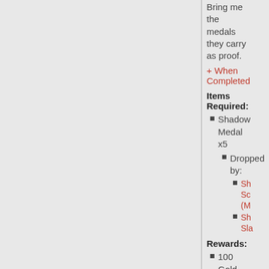Bring me the medals they carry as proof.
+ When Completed
Items Required:
Shadow Medal x5
Dropped by:
Sh... So... (M...
Sh... Sla...
Rewards:
100 Gold
100 Exp
You may